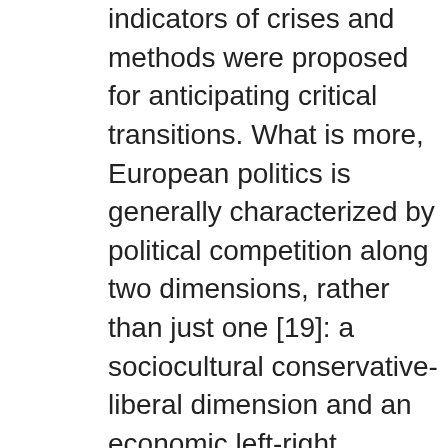indicators of crises and methods were proposed for anticipating critical transitions. What is more, European politics is generally characterized by political competition along two dimensions, rather than just one [19]: a sociocultural conservative-liberal dimension and an economic left-right dimension. Still, some logos have remained the same. Political scientists can be found working in governments, in political parties or as civil servants. A very interesting "insiders" view of the financial dimensions of globalization. A powerful logo can give a company easy recognition. Political science, possibly like the social sciences as a whole, "as a discipline lives on the fault line between the 'two cultures' in the academy, the sciences and the humanities. Roles See for more discussion on various forms of complexity [43] Our approach does impede a comparison between countries, because languages may systematically differ in their complexity. Encyclopedia.com. The logo is surely a great help in running a political campaign successfully. No, Is